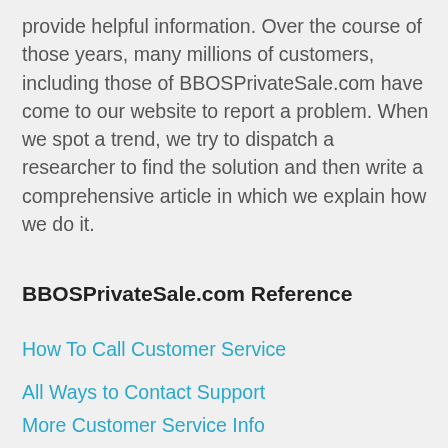provide helpful information. Over the course of those years, many millions of customers, including those of BBOSPrivateSale.com have come to our website to report a problem. When we spot a trend, we try to dispatch a researcher to find the solution and then write a comprehensive article in which we explain how we do it.
BBOSPrivateSale.com Reference
How To Call Customer Service
All Ways to Contact Support
More Customer Service Info